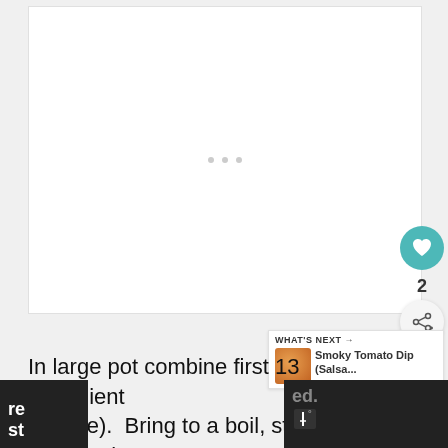[Figure (photo): Large white image placeholder area with three small gray dots in the center, representing a loading or empty image]
[Figure (infographic): Teal circular heart/like button with count of 2 below it, and a share button below that]
[Figure (infographic): What's Next widget showing 'WHAT'S NEXT →' header and 'Smoky Tomato Dip (Salsa...' with a food image thumbnail]
In large pot combine first 13 ingredients (through the line).  Bring to a boil, stirring constantly,
re
st
ed.
[Figure (logo): Weather app icon with thermometer symbol and degree marker on dark background]